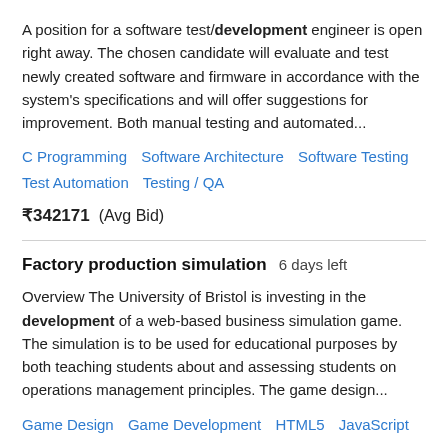A position for a software test/development engineer is open right away. The chosen candidate will evaluate and test newly created software and firmware in accordance with the system's specifications and will offer suggestions for improvement. Both manual testing and automated...
C Programming   Software Architecture   Software Testing   Test Automation   Testing / QA
₹342171  (Avg Bid)
Factory production simulation  6 days left
Overview The University of Bristol is investing in the development of a web-based business simulation game. The simulation is to be used for educational purposes by both teaching students about and assessing students on operations management principles. The game design...
Game Design   Game Development   HTML5   JavaScript
₹137205  (Avg Bid)